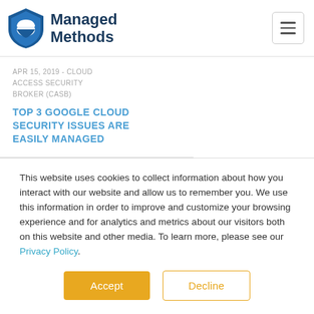[Figure (logo): Managed Methods logo with shield icon and bold text]
APR 15, 2019 - CLOUD ACCESS SECURITY BROKER (CASB)
TOP 3 GOOGLE CLOUD SECURITY ISSUES ARE EASILY MANAGED
This website uses cookies to collect information about how you interact with our website and allow us to remember you. We use this information in order to improve and customize your browsing experience and for analytics and metrics about our visitors both on this website and other media. To learn more, please see our Privacy Policy.